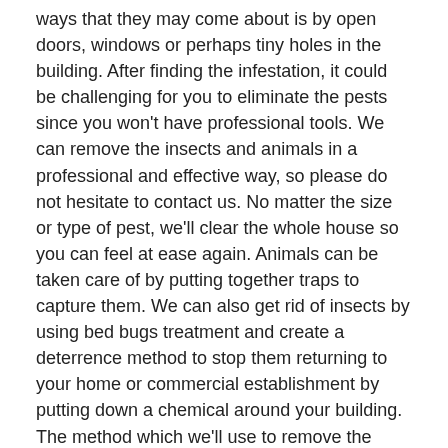ways that they may come about is by open doors, windows or perhaps tiny holes in the building. After finding the infestation, it could be challenging for you to eliminate the pests since you won't have professional tools. We can remove the insects and animals in a professional and effective way, so please do not hesitate to contact us. No matter the size or type of pest, we'll clear the whole house so you can feel at ease again. Animals can be taken care of by putting together traps to capture them. We can also get rid of insects by using bed bugs treatment and create a deterrence method to stop them returning to your home or commercial establishment by putting down a chemical around your building. The method which we'll use to remove the infestations depends entirely on the kind of pest you are undergoing and what would work best in your specific situation.
A number of aspects can change the costs of pest infestations management and beetle removal. The key factor being what type of insect, animal or even bird wants removing. If there is only a few unwanted pests needed to be trapped the cost will often be significantly less expensive than if there were a great deal of